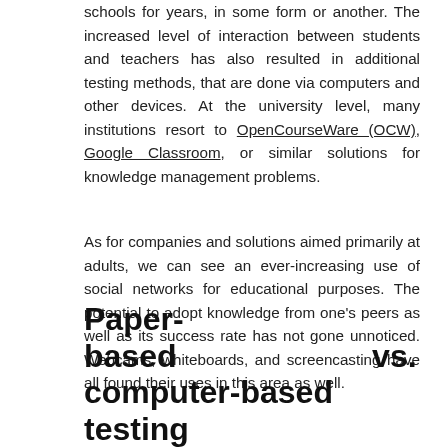schools for years, in some form or another. The increased level of interaction between students and teachers has also resulted in additional testing methods, that are done via computers and other devices. At the university level, many institutions resort to OpenCourseWare (OCW), Google Classroom, or similar solutions for knowledge management problems.
As for companies and solutions aimed primarily at adults, we can see an ever-increasing use of social networks for educational purposes. The potential to adopt knowledge from one's peers as well as its success rate has not gone unnoticed. Webcams, whiteboards, and screencasting have all found their uses in this area as well.
Paper-based vs. computer-based testing